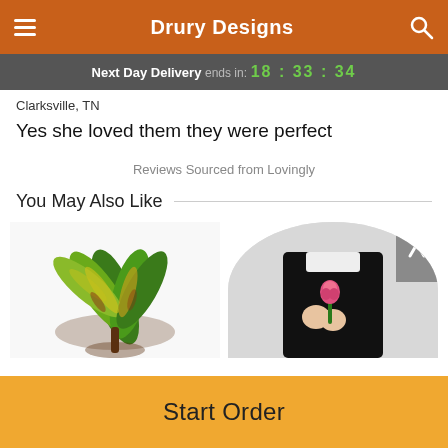Drury Designs
Next Day Delivery ends in: 18:33:34
Clarksville, TN
Yes she loved them they were perfect
Reviews Sourced from Lovingly
You May Also Like
[Figure (photo): Croton plant with colorful green and yellow leaves]
[Figure (photo): Person in black outfit holding a pink rose bud]
Start Order